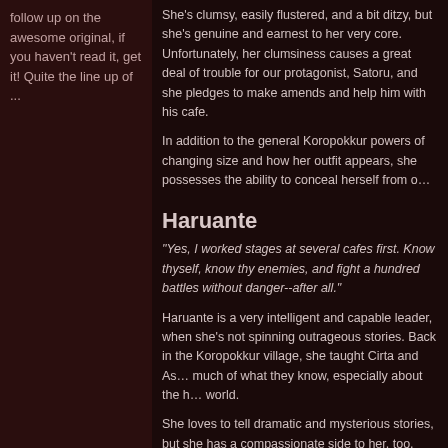follow up on the awesome original, if you haven't read it, get it! Quite the line up of ...
She’s clumsy, easily flustered, and a bit ditzy, but she’s genuine and earnest to her very core. Unfortunately, her clumsiness causes a great deal of trouble for our protagonist, Satoru, and she pledges to make amends and help him with his cafe.
In addition to the general Koropokkur powers of changing size and how her outfit appears, she possesses the ability to conceal herself from o…
Haruante
“Yes, I worked stages at several cafes first. Know thyself, know thy enemies, and fight a hundred battles without danger--after all.”
Haruante is a very intelligent and capable leader, when she’s not spinning outrageous stories. Back in the Koropokkur village, she taught Cirta and Asi much of what they know, especially about the hu- world.
She loves to tell dramatic and mysterious stories, but she has a compassionate side to her, too. She acts as an older sister to the two and takes Asirrera’s situation very seriously, perhaps moreso than she does.
In addition to the general Koropokkur powers…